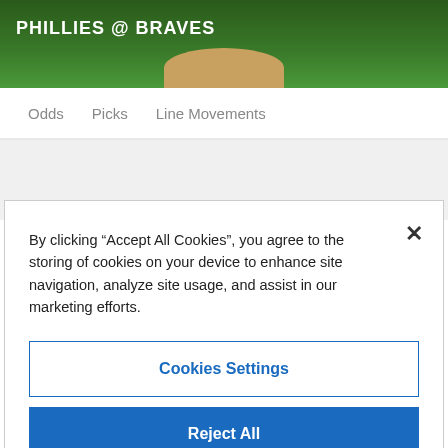[Figure (photo): Baseball field background image showing green grass and a dirt pitcher's mound]
PHILLIES @ BRAVES
Odds   Picks   Line Movements
By clicking “Accept All Cookies”, you agree to the storing of cookies on your device to enhance site navigation, analyze site usage, and assist in our marketing efforts.
Cookies Settings
Reject All
Accept All Cookies